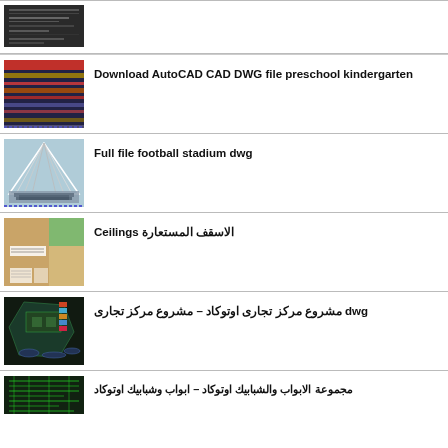[Figure (screenshot): AutoCAD screenshot thumbnail - dark colored engineering drawing]
Download AutoCAD CAD DWG file preschool kindergarten
[Figure (screenshot): AutoCAD technical drawing thumbnail - colored layers]
Full file football stadium dwg
[Figure (screenshot): CAD drawing of ceilings/false ceilings - brown and beige]
الاسقف المستعارة Ceilings
[Figure (screenshot): Dark AutoCAD site plan of commercial center]
dwg مشروع مركز تجارى اوتوكاد – مشروع مركز تجارى
[Figure (screenshot): AutoCAD drawing - dark green technical drawing]
مجموعة الابواب والشبابيك اوتوكاد – ابواب وشبابيك اوتوكاد